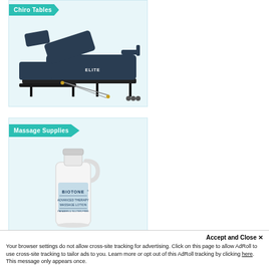[Figure (photo): Chiro Tables product banner with a chiropractic adjustment table (ELITE brand, dark navy/black) on a light blue background with a teal arrow label reading 'Chiro Tables']
[Figure (photo): Massage Supplies product banner with a large white gallon jug of Biotone Advanced Therapy Massage Lotion on a light blue background with a teal arrow label reading 'Massage Supplies']
Accept and Close ✕
Your browser settings do not allow cross-site tracking for advertising. Click on this page to allow AdRoll to use cross-site tracking to tailor ads to you. Learn more or opt out of this AdRoll tracking by clicking here. This message only appears once.